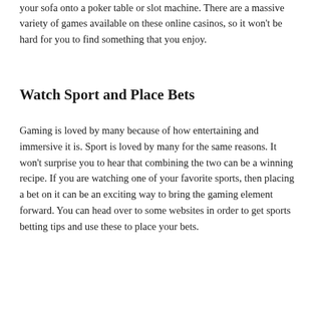your sofa onto a poker table or slot machine. There are a massive variety of games available on these online casinos, so it won't be hard for you to find something that you enjoy.
Watch Sport and Place Bets
Gaming is loved by many because of how entertaining and immersive it is. Sport is loved by many for the same reasons. It won't surprise you to hear that combining the two can be a winning recipe. If you are watching one of your favorite sports, then placing a bet on it can be an exciting way to bring the gaming element forward. You can head over to some websites in order to get sports betting tips and use these to place your bets.